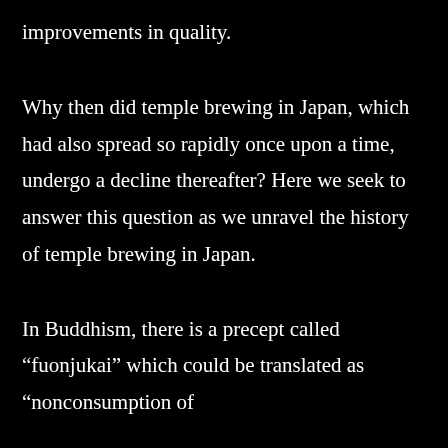improvements in quality.
Why then did temple brewing in Japan, which had also spread so rapidly once upon a time, undergo a decline thereafter? Here we seek to answer this question as we unravel the history of temple brewing in Japan.
In Buddhism, there is a precept called “fuonjukai” which could be translated as “nonconsumption of